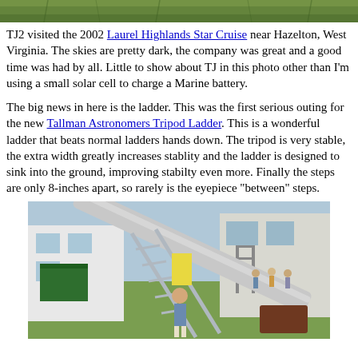[Figure (photo): Top portion of an outdoor photo showing green grass/ground, cropped at top of page]
TJ2 visited the 2002 Laurel Highlands Star Cruise near Hazelton, West Virginia. The skies are pretty dark, the company was great and a good time was had by all. Little to show about TJ in this photo other than I'm using a small solar cell to charge a Marine battery.
The big news in here is the ladder. This was the first serious outing for the new Tallman Astronomers Tripod Ladder. This is a wonderful ladder that beats normal ladders hands down. The tripod is very stable, the extra width greatly increases stablity and the ladder is designed to sink into the ground, improving stabilty even more. Finally the steps are only 8-inches apart, so rarely is the eyepiece "between" steps.
[Figure (photo): Outdoor photo showing a large telescope (Dobsonian style) lying on its side on grass, with a person standing next to it. Buildings visible in background with people gathered.]